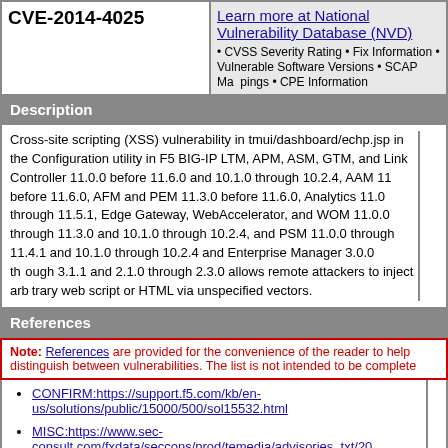CVE-2014-4025
Learn more at National Vulnerability Database (NVD) • CVSS Severity Rating • Fix Information • Vulnerable Software Versions • SCAP Mappings • CPE Information
Description
Cross-site scripting (XSS) vulnerability in tmui/dashboard/echo.jsp in the Configuration utility in F5 BIG-IP LTM, APM, ASM, GTM, and Link Controller 11.0.0 before 11.6.0 and 10.1.0 through 10.2.4, AAM 11 before 11.6.0, AFM and PEM 11.3.0 before 11.6.0, Analytics 11.0 through 11.5.1, Edge Gateway, WebAccelerator, and WOM 11.0.0 through 11.3.0 and 10.1.0 through 10.2.4, and PSM 11.0.0 through 11.4.1 and 10.1.0 through 10.2.4 and Enterprise Manager 3.0.0 through 3.1.1 and 2.1.0 through 2.3.0 allows remote attackers to inject arbitrary web script or HTML via unspecified vectors.
References
Note: References are provided for the convenience of the reader to help distinguish between vulnerabilities. The list is not intended to be complete
CONFIRM:https://support.f5.com/kb/en-us/solutions/public/15000/500/sol15532.html
MISC:https://www.sec-consult.com/fxdata/seccons/prod/temedia/advisories_txt/20... F5_BIG-IP_Reflected_XSS_v10.txt
SECTRACK:1030776